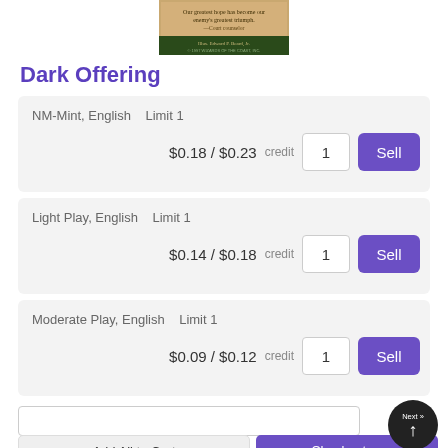[Figure (photo): Book cover image for Dark Offering, dark green and tan tones with text]
Dark Offering
| Condition | Limit | Cash Price | Credit Price | Quantity | Action |
| --- | --- | --- | --- | --- | --- |
| NM-Mint, English | Limit 1 | $0.18 | $0.23 credit | 1 | Sell |
| Light Play, English | Limit 1 | $0.14 | $0.18 credit | 1 | Sell |
| Moderate Play, English | Limit 1 | $0.09 | $0.12 credit | 1 | Sell |
Add All to Cart
Checkout →